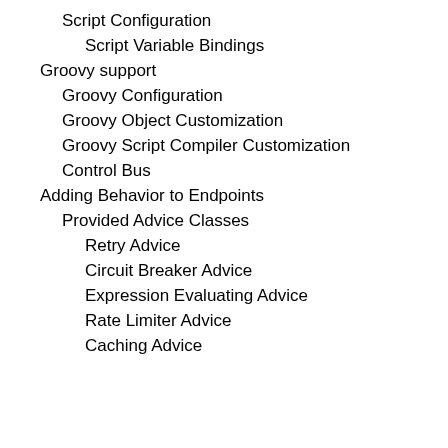Script Configuration
Script Variable Bindings
Groovy support
Groovy Configuration
Groovy Object Customization
Groovy Script Compiler Customization
Control Bus
Adding Behavior to Endpoints
Provided Advice Classes
Retry Advice
Circuit Breaker Advice
Expression Evaluating Advice
Rate Limiter Advice
Caching Advice